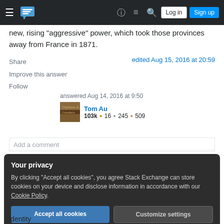Stack Exchange navigation bar with hamburger menu, logo, help, chat, search, Log in, Sign up
new, rising "aggressive" power, which took those provinces away from France in 1871.
Share
Improve this answer
Follow
edited Aug 15, 2016 at 20:59
answered Aug 14, 2016 at 9:50
Tom Au
103k • 16 • 245 • 509
Add a comment
Your privacy
By clicking "Accept all cookies", you agree Stack Exchange can store cookies on your device and disclose information in accordance with our Cookie Policy.
Accept all cookies  Customize settings
identity